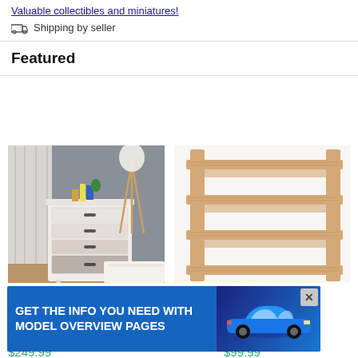Valuable collectibles and miniatures!
Shipping by seller
Featured
[Figure (photo): White 5-drawer dresser in a grey-walled bedroom setting with decorative items on top, floor lamp with tripod stand, and white bedding visible]
[Figure (photo): Natural wood multi-tier shelf/bookcase with slatted shelves, partially visible, cropped on the right side]
HOMCOM 5 Drawer Dresser for Bedr...
Mercury 2-Piece Sta...
Aosd...
$249.99
$99.99
[Figure (screenshot): Blue advertisement banner reading GET THE INFO YOU NEED WITH MODEL OVERVIEW PAGES with image of a blue sports car and an X close button]